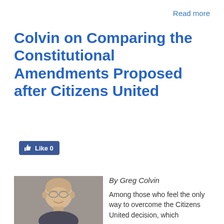Read more
Colvin on Comparing the Constitutional Amendments Proposed after Citizens United
[Figure (other): Facebook Like button showing thumbs up icon and Like 0]
By Greg Colvin
[Figure (photo): Portrait photo of Greg Colvin, a bald man with glasses, smiling, against a gray background]
Among those who feel the only way to overcome the Citizens United decision, which